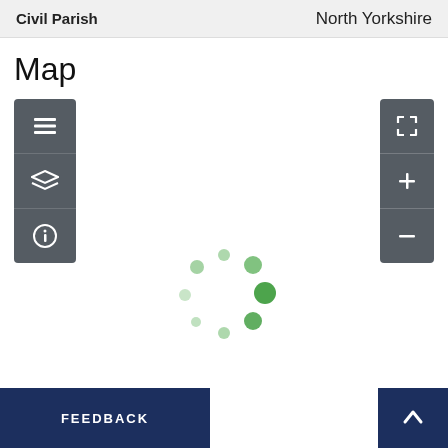| Civil Parish |  |
| --- | --- |
| Civil Parish | North Yorkshire |
Map
[Figure (screenshot): Interactive map interface showing a map area with left toolbar (list, map layers, info icons) and right toolbar (fullscreen, zoom in, zoom out buttons). A green loading spinner is visible in the center of the map.]
FEEDBACK